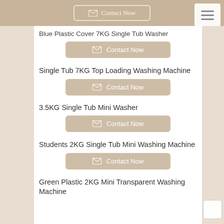Contact Now
Blue Plastic Cover 7KG Single Tub Washer
Contact Now
Single Tub 7KG Top Loading Washing Machine
Contact Now
3.5KG Single Tub Mini Washer
Contact Now
Students 2KG Single Tub Mini Washing Machine
Contact Now
Green Plastic 2KG Mini Transparent Washing Machine